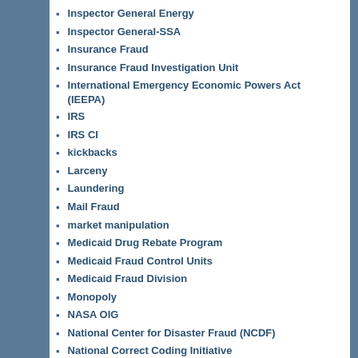Inspector General Energy
Inspector General-SSA
Insurance Fraud
Insurance Fraud Investigation Unit
International Emergency Economic Powers Act (IEEPA)
IRS
IRS CI
kickbacks
Larceny
Laundering
Mail Fraud
market manipulation
Medicaid Drug Rebate Program
Medicaid Fraud Control Units
Medicaid Fraud Division
Monopoly
NASA OIG
National Center for Disaster Fraud (NCDF)
National Correct Coding Initiative
National Nuclear Security Administration (NNSA)
National Security Concern